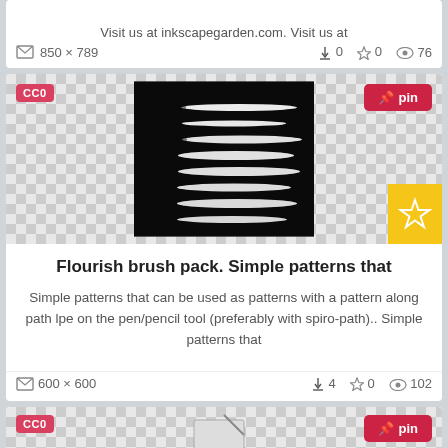Visit us at inkscapegarden.com. Visit us at
850×789  ↓0  ☆0  👁76
[Figure (screenshot): Thumbnail showing brush stroke patterns on black background with CC0 badge and pin button]
Flourish brush pack. Simple patterns that
Simple patterns that can be used as patterns with a pattern along path lpe on the pen/pencil tool (preferably with spiro-path).. Simple patterns that
600×600  ↓4  ☆0  👁102
[Figure (screenshot): Partial thumbnail at bottom of page with CC0 badge and pin button]